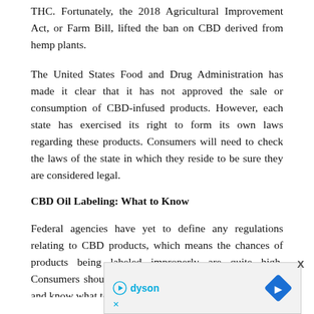THC. Fortunately, the 2018 Agricultural Improvement Act, or Farm Bill, lifted the ban on CBD derived from hemp plants.
The United States Food and Drug Administration has made it clear that it has not approved the sale or consumption of CBD-infused products. However, each state has exercised its right to form its own laws regarding these products. Consumers will need to check the laws of the state in which they reside to be sure they are considered legal.
CBD Oil Labeling: What to Know
Federal agencies have yet to define any regulations relating to CBD products, which means the chances of products being labeled improperly are quite high. Consumers should be wary of what they are purchasing and know what to look for on the label.
[Figure (other): Advertisement banner for Dyson with logo, play button icon, and navigation diamond icon.]